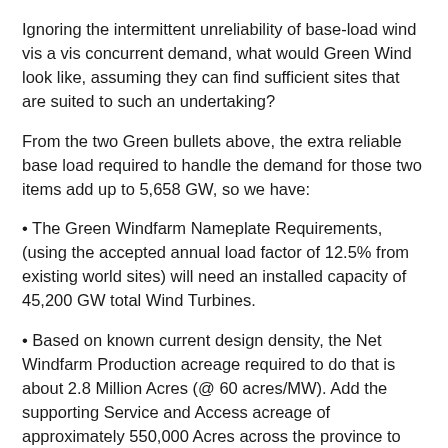Ignoring the intermittent unreliability of base-load wind vis a vis concurrent demand, what would Green Wind look like, assuming they can find sufficient sites that are suited to such an undertaking?
From the two Green bullets above, the extra reliable base load required to handle the demand for those two items add up to 5,658 GW, so we have:
The Green Windfarm Nameplate Requirements, (using the accepted annual load factor of 12.5% from existing world sites) will need an installed capacity of 45,200 GW total Wind Turbines.
Based on known current design density, the Net Windfarm Production acreage required to do that is about 2.8 Million Acres (@ 60 acres/MW). Add the supporting Service and Access acreage of approximately 550,000 Acres across the province to end up with about 3.25 Million Acres distributed